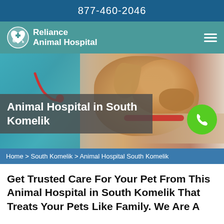877-460-2046
[Figure (logo): Reliance Animal Hospital logo with pet silhouettes inside a heart shape, white on teal background]
[Figure (photo): Veterinarian in teal scrubs with stethoscope holding a golden retriever dog on an examination table, with a person's hand visible]
Animal Hospital in South Komelik
Home > South Komelik > Animal Hospital South Komelik
Get Trusted Care For Your Pet From This Animal Hospital in South Komelik That Treats Your Pets Like Family. We Are A